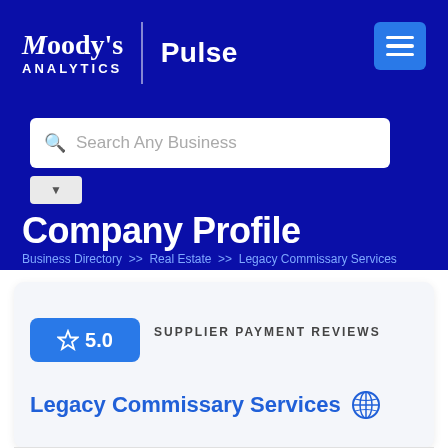Moody's Analytics | Pulse
Search Any Business
Company Profile
Business Directory >> Real Estate >> Legacy Commissary Services
5.0  SUPPLIER PAYMENT REVIEWS
Legacy Commissary Services